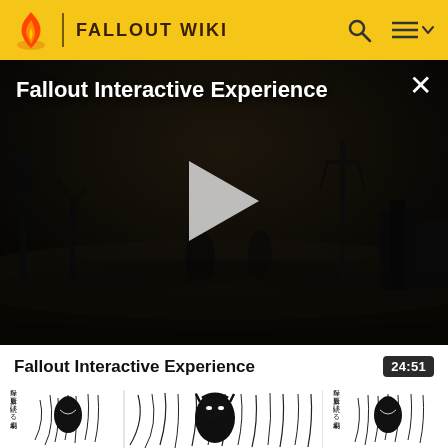FALLOUT WIKI
[Figure (screenshot): Video player showing dark post-apocalyptic scene with trees and fog. Title 'Fallout Interactive Experience' overlaid in white text top-left. Close (X) button top-right. Large white play button triangle in center.]
Fallout Interactive Experience
24:51
[Figure (screenshot): Black and white manga/anime style illustration showing a dark character figure surrounded by flame-like lines, with Japanese text on the left side reading 録を更新し続ける劇場. The image repeats on the right side.]